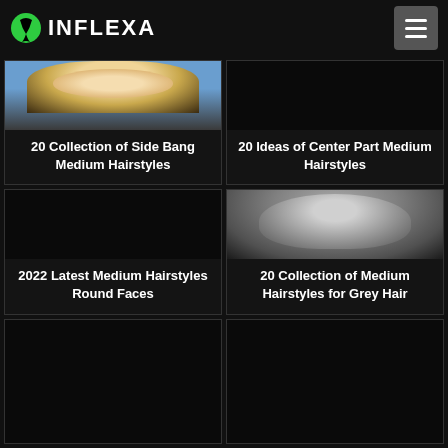INFLEXA
[Figure (photo): Card 1: Photo of blonde woman with medium hairstyle]
20 Collection of Side Bang Medium Hairstyles
[Figure (photo): Card 2: Dark/black placeholder image for Center Part Medium Hairstyles]
20 Ideas of Center Part Medium Hairstyles
[Figure (photo): Card 3: Black placeholder image for Medium Hairstyles Round Faces]
2022 Latest Medium Hairstyles Round Faces
[Figure (photo): Card 4: Photo of grey/silver wavy medium hairstyle]
20 Collection of Medium Hairstyles for Grey Hair
[Figure (photo): Card 5: Black placeholder image (bottom left)]
[Figure (photo): Card 6: Black placeholder image (bottom right)]